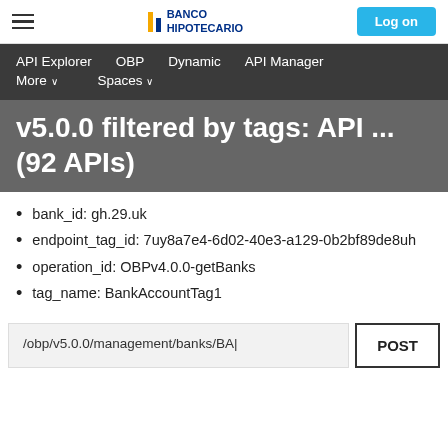BANCO HIPOTECARIO — Log on
API Explorer   OBP   Dynamic   API Manager   More ∨   Spaces ∨
v5.0.0 filtered by tags: API ... (92 APIs)
bank_id: gh.29.uk
endpoint_tag_id: 7uy8a7e4-6d02-40e3-a129-0b2bf89de8uh
operation_id: OBPv4.0.0-getBanks
tag_name: BankAccountTag1
/obp/v5.0.0/management/banks/BA|   POST